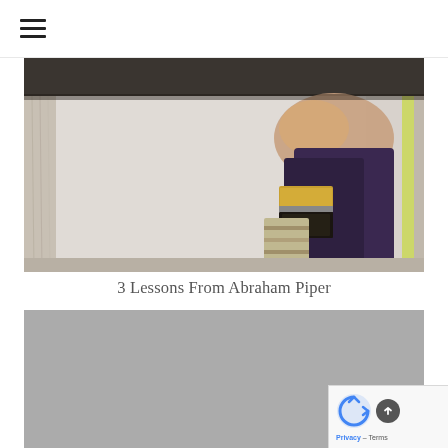☰ (hamburger menu icon)
[Figure (photo): Close-up photo of a hand holding a paintbrush against a wooden frame, painting a wall. The scene shows a dark-handled brush, a wooden ladder or frame in white/grey tones, and a light-colored wall. A yellow-green line is visible on the right side.]
3 Lessons From Abraham Piper
[Figure (photo): A large grey/placeholder image, likely a loading or blurred image area below the article title.]
Privacy – Terms